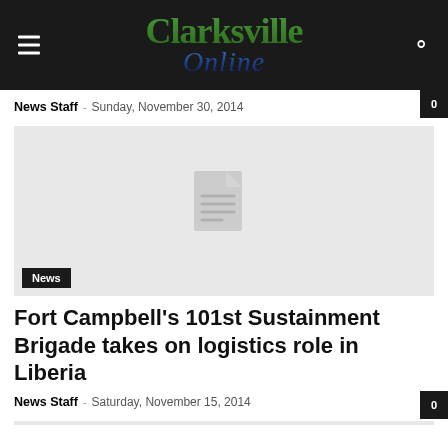Clarksville Online
News Staff – Sunday, November 30, 2014
[Figure (illustration): Gray placeholder image with a document icon in the center, labeled News in bottom-left corner]
Fort Campbell's 101st Sustainment Brigade takes on logistics role in Liberia
News Staff – Saturday, November 15, 2014